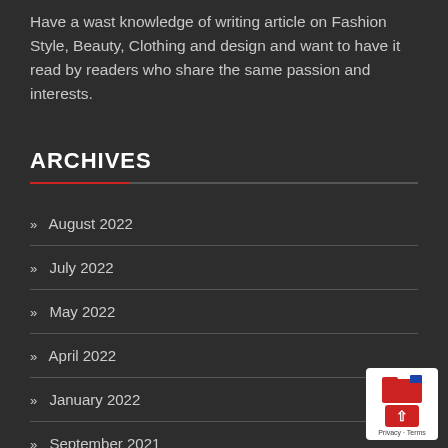Have a wast knowledge of writing article on Fashion Style, Beauty, Clothing and design and want to have it read by readers who share the same passion and interests.
ARCHIVES
» August 2022
» July 2022
» May 2022
» April 2022
» January 2022
» September 2021
» August 2021